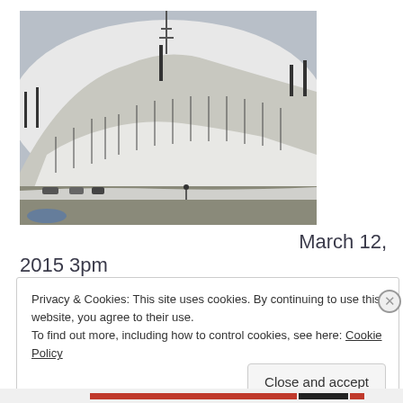[Figure (illustration): Watercolor/sketch painting of a snow-covered hill with bare trees and a radio tower at the top, and a road with cars at the bottom.]
March 12, 2015 3pm
Privacy & Cookies: This site uses cookies. By continuing to use this website, you agree to their use.
To find out more, including how to control cookies, see here: Cookie Policy
Close and accept